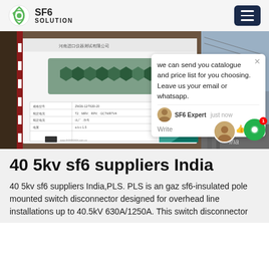SF6 SOLUTION
[Figure (photo): Photo of an SF6 equipment panel/document attached to a piece of machinery, with industrial infrastructure visible in the background. A chat popup overlay reads: 'we can send you catalogue and price list for you choosing. Leave us your email or whatsapp.' with SF6 Expert label and 'just now' timestamp.]
40 5kv sf6 suppliers India
40 5kv sf6 suppliers India,PLS. PLS is an gaz sf6-insulated pole mounted switch disconnector designed for overhead line installations up to 40.5kV 630A/1250A. This switch disconnector